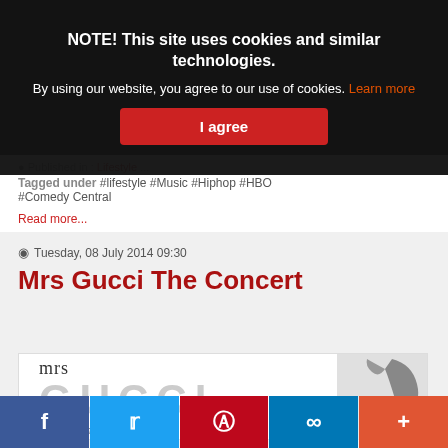NOTE! This site uses cookies and similar technologies.
By using our website, you agree to our use of cookies. Learn more
I agree
Published in: Lifestyle...
Tagged under: #lifestyle #Music #Hiphop #HBO #Comedy Central
Read more...
Tuesday, 08 July 2014 09:30
Mrs Gucci The Concert
[Figure (photo): Mrs Gucci concert promotional image showing 'mrs GUCCI The amazing true story of' text with a high-heel shoe image on the right]
f  Twitter  Pinterest  Link  +